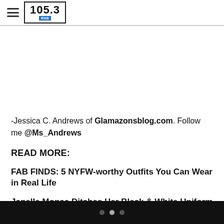105.3 RNB
[Figure (other): Blank image placeholder area]
-Jessica C. Andrews of Glamazonsblog.com. Follow me @Ms_Andrews
READ MORE:
FAB FINDS: 5 NYFW-worthy Outfits You Can Wear in Real Life
Janelle Monae Ditches Her Black & White Uniform + More